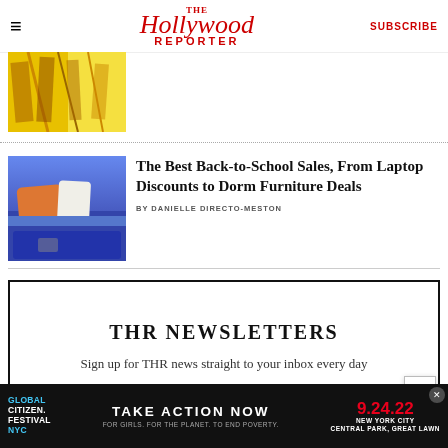THE Hollywood REPORTER | SUBSCRIBE
[Figure (photo): Thumbnail image with yellow background and colorful figures]
The Best Back-to-School Sales, From Laptop Discounts to Dorm Furniture Deals
BY DANIELLE DIRECTO-MESTON
[Figure (photo): Blue bedding with orange and white pillows on a dorm bed]
THR NEWSLETTERS
Sign up for THR news straight to your inbox every day
[Figure (infographic): Global Citizen Festival NYC advertisement banner: TAKE ACTION NOW FOR GIRLS. FOR THE PLANET. TO END POVERTY. 9.24.22 NEW YORK CITY CENTRAL PARK, GREAT LAWN]